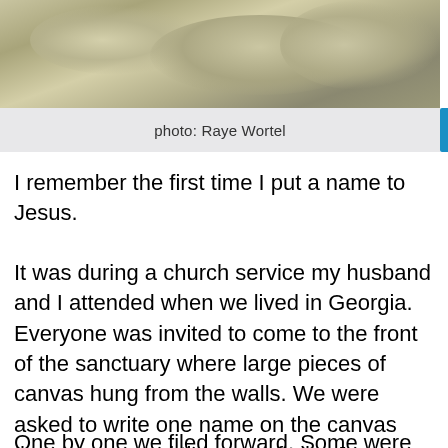[Figure (photo): Cloudy sky photograph with muted golden-grey tones]
photo: Raye Wortel
I remember the first time I put a name to Jesus.
It was during a church service my husband and I attended when we lived in Georgia. Everyone was invited to come to the front of the sanctuary where large pieces of canvas hung from the walls. We were asked to write one name on the canvas that represented the sum of who Jesus was to us at that moment.
One by one we filed forward. Some were